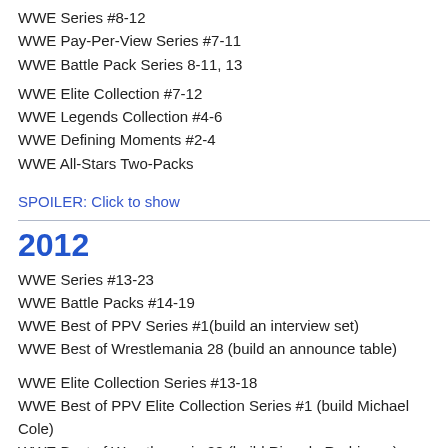WWE Series #8-12
WWE Pay-Per-View Series #7-11
WWE Battle Pack Series 8-11, 13
WWE Elite Collection #7-12
WWE Legends Collection #4-6
WWE Defining Moments #2-4
WWE All-Stars Two-Packs
SPOILER: Click to show
2012
WWE Series #13-23
WWE Battle Packs #14-19
WWE Best of PPV Series #1(build an interview set)
WWE Best of Wrestlemania 28 (build an announce table)
WWE Elite Collection Series #13-18
WWE Best of PPV Elite Collection Series #1 (build Michael Cole)
WWE Best of Wrestlemania 28 (build Ricardo Rodriguez)
SPOILER: Click to show
2013
WWE Series #24-35
WWE Battle Pack Series #20-35